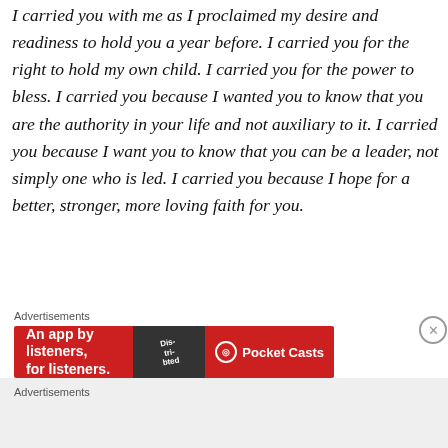I carried you with me as I proclaimed my desire and readiness to hold you a year before. I carried you for the right to hold my own child. I carried you for the power to bless. I carried you because I wanted you to know that you are the authority in your life and not auxiliary to it. I carried you because I want you to know that you can be a leader, not simply one who is led. I carried you because I hope for a better, stronger, more loving faith for you.
Advertisements
[Figure (other): Advertisement banner for Pocket Casts: red background with text 'An app by listeners, for listeners.' and Pocket Casts logo]
Advertisements